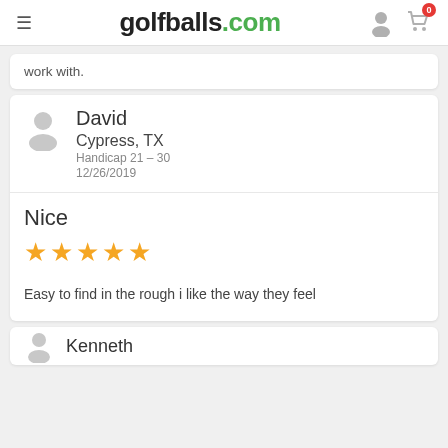golfballs.com
work with.
David
Cypress, TX
Handicap 21 – 30
12/26/2019
Nice
★★★★★
Easy to find in the rough i like the way they feel
Kenneth